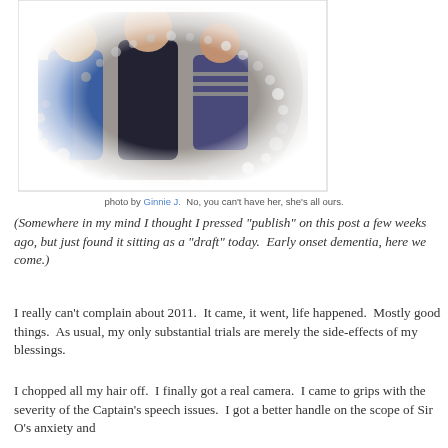[Figure (photo): Family photo of a woman and three young children in a circular dotted frame on a white background. The adults and children are wearing blue and dark clothing. The image has a decorative polka-dot border effect fading to white.]
photo by Ginnie J.  No, you can't have her, she's all ours.
(Somewhere in my mind I thought I pressed "publish" on this post a few weeks ago, but just found it sitting as a "draft" today.  Early onset dementia, here we come.)
I really can't complain about 2011.  It came, it went, life happened.  Mostly good things.  As usual, my only substantial trials are merely the side-effects of my blessings.
I chopped all my hair off.  I finally got a real camera.  I came to grips with the severity of the Captain's speech issues.  I got a better handle on the scope of Sir O's anxiety and